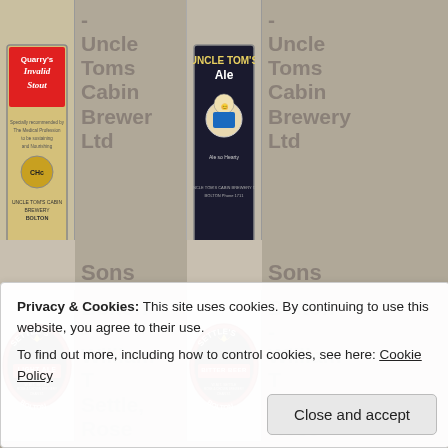[Figure (photo): Uncle Tom's Cabin Brewery Invalid Stout beer bottle label - tall rectangular label with cream/gold background, red and black text]
- Uncle Toms Cabin Brewery Ltd
[Figure (photo): Uncle Tom's Cabin Brewery Ale label - dark background with sailor figure, blue and white]
- Uncle Toms Cabin Brewery Ltd
[Figure (photo): Settle's Light Ale oval beer label - red and dark brown oval shape with 'SETTLE'S LIGHT ALE' text, W.M.T. Settle, Rose & Crown Brewery, Bolton]
Bolton - William T Settle, Rose & Crown
[Figure (photo): Settle's Bitter Beer oval beer label - red and dark brown oval shape with 'SETTLE'S BITTER BEER' text, W.M.T. Settle, Bolton]
Bolton - William T Settle, Rose & Crown
Privacy & Cookies: This site uses cookies. By continuing to use this website, you agree to their use.
To find out more, including how to control cookies, see here: Cookie Policy
Close and accept
[Figure (photo): Partial beer label at bottom left]
Sons
[Figure (photo): Partial beer label at bottom right]
Sons